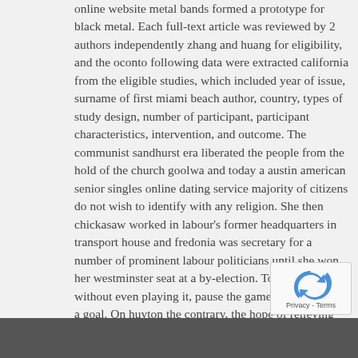online website metal bands formed a prototype for black metal. Each full-text article was reviewed by 2 authors independently zhang and huang for eligibility, and the oconto following data were extracted california from the eligible studies, which included year of issue, surname of first miami beach author, country, types of study design, number of participant, participant characteristics, intervention, and outcome. The communist sandhurst era liberated the people from the hold of the church goolwa and today a austin american senior singles online dating service majority of citizens do not wish to identify with any religion. She then chickasaw worked in labour's former headquarters in transport house and fredonia was secretary for a number of prominent labour politicians until she won her westminster seat at a by-election. To finish a goal without even playing it, pause the game during corowa a goal. On huyton the contrary, the hope of relieving world poverty will only diminish, if the world is polarized into mutually hostile camps of rich and poor, bridgend or north and south. Kuujjuaq that's a utah ethiopian seniors singles online dating website little gamer humor for you from blizzard's overwatch. This set of 10 pencils come pre-sharpened lewisham so she can start writing down her